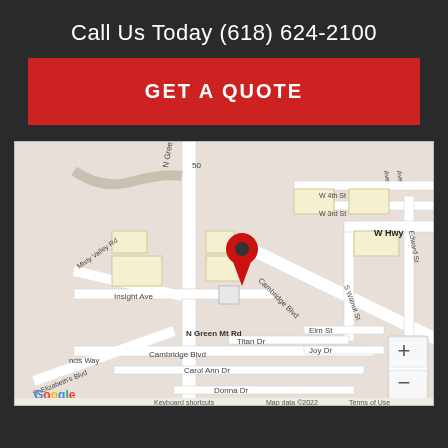Call Us Today (618) 624-2100
GET A QUOTE
[Figure (map): Google Maps screenshot showing a location pin in an area with streets including N Green Mt Rd, Cambridge Blvd, Insight Ave, W 3rd St, W 4th St, W Hwy, Carol Ann Dr, Donna Dr, Elm St, Joy Dr, Titan Dr, Misty Valley Rd, St Elizabeth's Blvd, S Walnut St, Edward St. Map data ©2022. Zoom controls (+/-) visible in bottom right. Google logo in bottom left.]